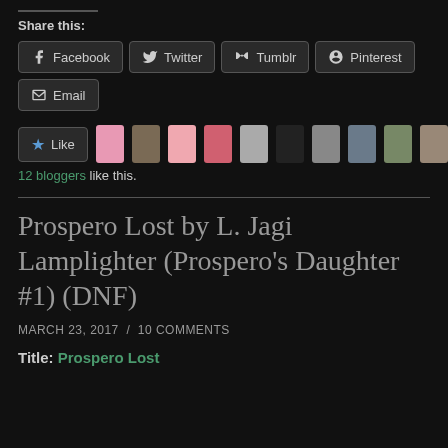Share this:
Facebook
Twitter
Tumblr
Pinterest
Email
12 bloggers like this.
Prospero Lost by L. Jagi Lamplighter (Prospero's Daughter #1) (DNF)
MARCH 23, 2017 / 10 COMMENTS
Title: Prospero Lost